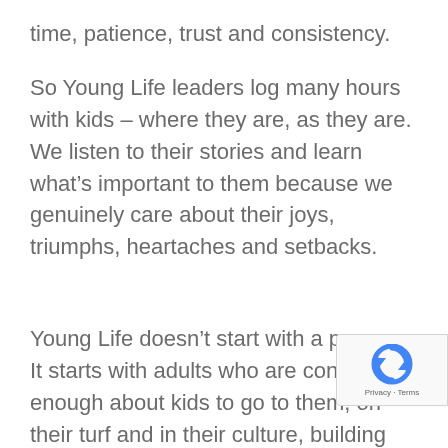time, patience, trust and consistency.
So Young Life leaders log many hours with kids – where they are, as they are. We listen to their stories and learn what's important to them because we genuinely care about their joys, triumphs, heartaches and setbacks.
Young Life doesn't start with a program. It starts with adults who are concerned enough about kids to go to them, on their turf and in their culture, building bridges of authentic friendship. These relationships don't happen overnight — they take time, patience, trust and consistency.